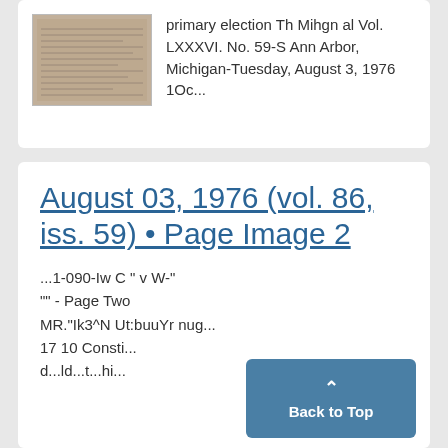[Figure (photo): Thumbnail image of a newspaper page]
primary election Th Mihgn al Vol. LXXXVI. No. 59-S Ann Arbor, Michigan-Tuesday, August 3, 1976 1Oc...
August 03, 1976 (vol. 86, iss. 59) • Page Image 2
...1-090-Iw C " v W-" "" - Page Two MR."Ik3^N Ut:buuYr nug... 17 10 Consti... d...ld...t...hi...